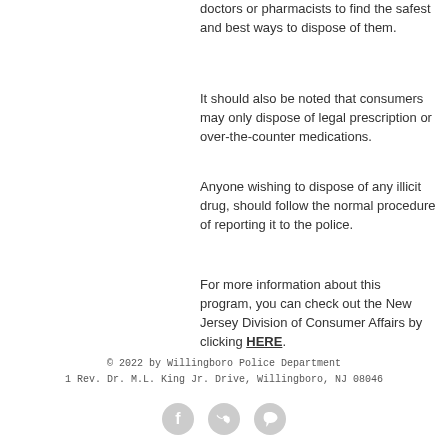doctors or pharmacists to find the safest and best ways to dispose of them.
It should also be noted that consumers may only dispose of legal prescription or over-the-counter medications.
Anyone wishing to dispose of any illicit drug, should follow the normal procedure of reporting it to the police.
For more information about this program, you can check out the New Jersey Division of Consumer Affairs by clicking HERE.
© 2022 by Willingboro Police Department
1 Rev. Dr. M.L. King Jr. Drive, Willingboro, NJ 08046
[Figure (illustration): Three social media icons: Facebook, Twitter, Pinterest — rendered as light grey circular buttons]